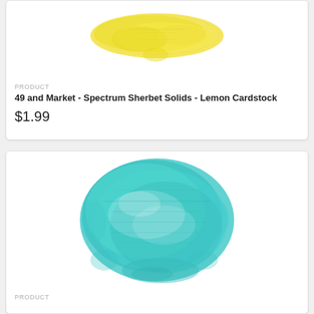[Figure (photo): Yellow paint/ink swatch on white background, textured brushstroke appearance]
PRODUCT
49 and Market - Spectrum Sherbet Solids - Lemon Cardstock
$1.99
[Figure (photo): Teal/turquoise paint/ink swatch on white background, large textured brushstroke appearance]
PRODUCT